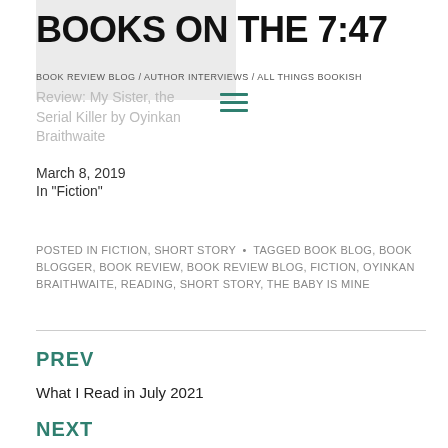BOOKS ON THE 7:47
BOOK REVIEW BLOG / AUTHOR INTERVIEWS / ALL THINGS BOOKISH
Review: My Sister, the Serial Killer by Oyinkan Braithwaite
March 8, 2019
In "Fiction"
POSTED IN FICTION, SHORT STORY • TAGGED BOOK BLOG, BOOK BLOGGER, BOOK REVIEW, BOOK REVIEW BLOG, FICTION, OYINKAN BRAITHWAITE, READING, SHORT STORY, THE BABY IS MINE
PREV
What I Read in July 2021
NEXT